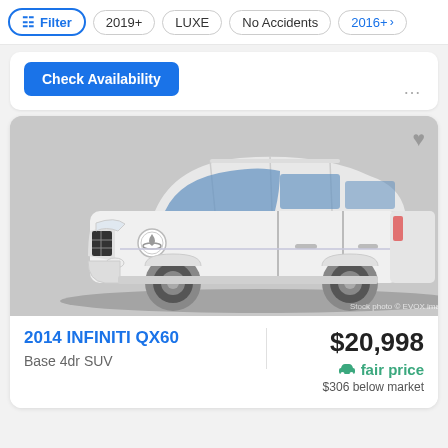Filter | 2019+ | LUXE | No Accidents | 2016+
Check Availability
[Figure (photo): White 2014 Infiniti QX60 SUV, 3/4 front view, stock photo]
2014 INFINITI QX60
Base 4dr SUV
$20,998
fair price
$306 below market